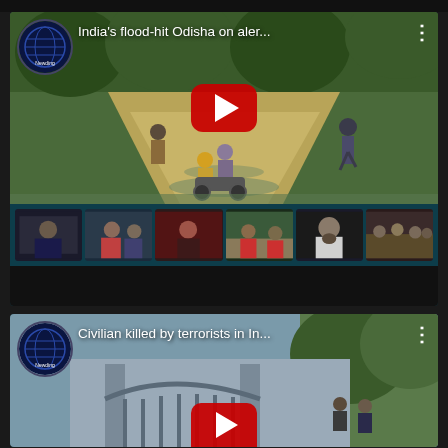[Figure (screenshot): YouTube video thumbnail showing 'India's flood-hit Odisha on aler...' with channel logo, play button, and thumbnail strip of related videos below]
[Figure (screenshot): YouTube video thumbnail showing 'Civilian killed by terrorists in In...' with channel logo and partial play button visible at bottom]